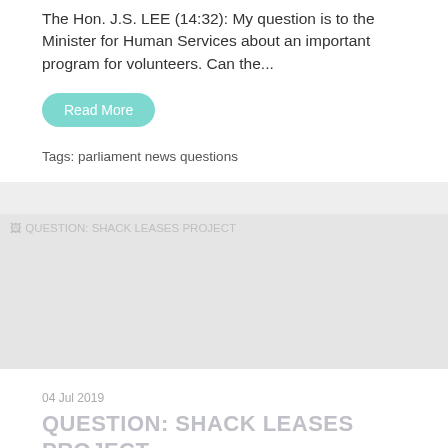The Hon. J.S. LEE (14:32): My question is to the Minister for Human Services about an important program for volunteers. Can the...
Read More
Tags: parliament news questions
[Figure (photo): Placeholder image for QUESTION: SHACK LEASES PROJECT article]
04 Jul 2019
QUESTION: SHACK LEASES PROJECT